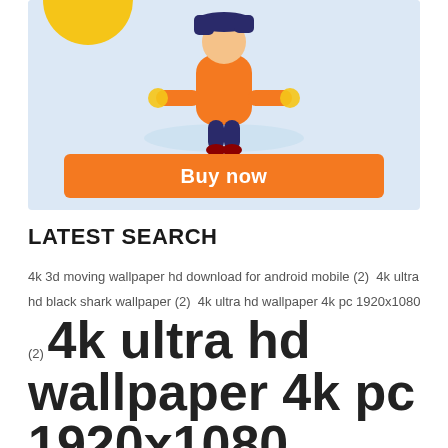[Figure (illustration): Advertisement banner with a cartoon character in orange suit doing a handstand on a light blue background, with a 'Buy now' orange button at the bottom]
LATEST SEARCH
4k 3d moving wallpaper hd download for android mobile (2)  4k ultra hd black shark wallpaper (2)  4k ultra hd wallpaper 4k pc 1920x1080 (2)  4k ultra hd wallpaper 4k pc 1920x1080 anime (3)  4k ultra joker wallpaper hd download for android mobile (2)  4k wallpaper hd download for android mobile (2)  aesthetic dark ultra hd 4k anime live wallpaper